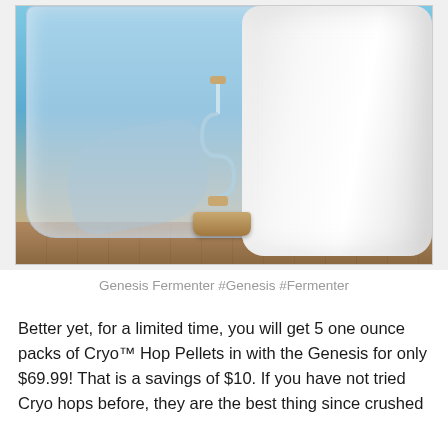[Figure (photo): Photo of a Genesis Fermenter kit showing a large white plastic jug/carboy, a clear plastic bag, a glass S-shaped airlock with stopper/cork, all arranged on a wooden surface against a blue background.]
Genesis Fermenter #Genesis #Fermenter
Better yet, for a limited time, you will get 5 one ounce packs of Cryo™ Hop Pellets in with the Genesis for only $69.99! That is a savings of $10. If you have not tried Cryo hops before, they are the best thing since crushed